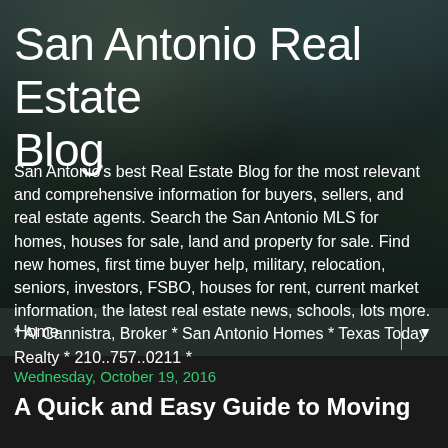[Figure (photo): Dark atmospheric photo of an interior room with framed pictures on walls, a lamp, and dim lighting serving as background for the blog header]
San Antonio Real Estate Blog
San Antonio's best Real Estate Blog for the most relevant and comprehensive information for buyers, sellers, and real estate agents. Search the San Antonio MLS for homes, houses for sale, land and property for sale. Find new homes, first time buyer help, military, relocation, seniors, investors, FSBO, houses for rent, current market information, the latest real estate news, schools, lots more. * Al Cannistra, Broker * San Antonio Homes * Texas Today Realty * 210..757..0211 *
Home ▼
Wednesday, October 19, 2016
A Quick and Easy Guide to Moving